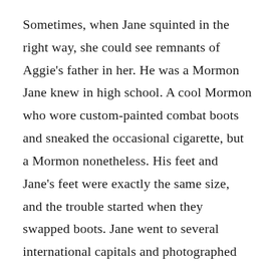Sometimes, when Jane squinted in the right way, she could see remnants of Aggie's father in her. He was a Mormon Jane knew in high school. A cool Mormon who wore custom-painted combat boots and sneaked the occasional cigarette, but a Mormon nonetheless. His feet and Jane's feet were exactly the same size, and the trouble started when they swapped boots. Jane went to several international capitals and photographed herself against monuments of note. She imagined what